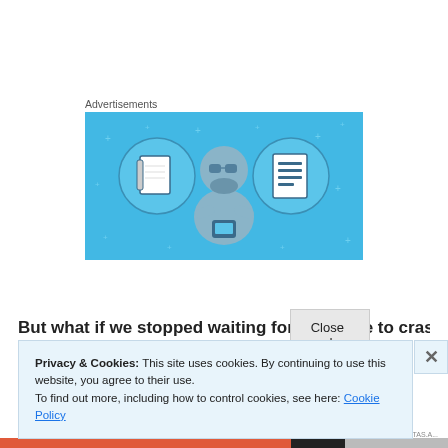Advertisements
[Figure (illustration): Advertisement banner with light blue background showing a cartoon person holding a phone, flanked by two circular icons — one with a notebook and one with a list/document. Small star/cross decorations scattered across the background.]
But what if we stopped waiting for someone to crash into
Privacy & Cookies: This site uses cookies. By continuing to use this website, you agree to their use.
To find out more, including how to control cookies, see here: Cookie Policy
Close and accept